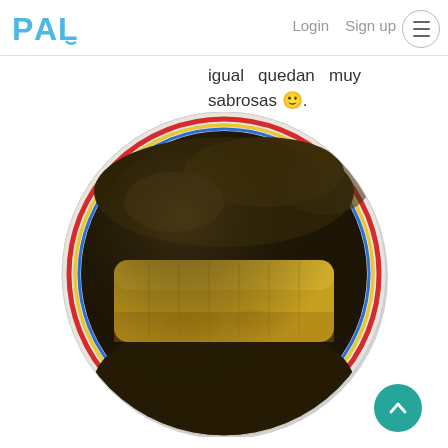PAL   Login  Sign up
igual quedan muy sabrosas 🙂.
[Figure (photo): A round plate with a tamale unwrapped from dark (blackened) banana leaves, revealing a yellow masa filling, viewed from above.]